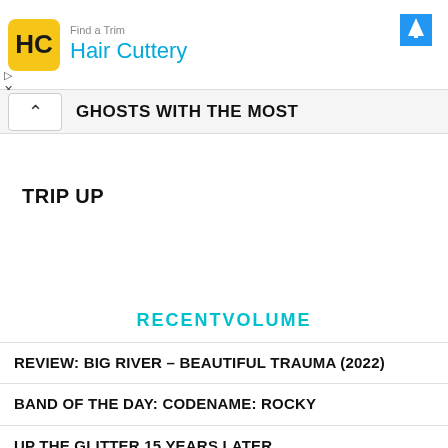[Figure (screenshot): Hair Cuttery advertisement banner with yellow logo showing 'HC', text 'Hair Cuttery' in blue, and a blue navigation arrow icon top right. Small play and X icons bottom left.]
GHOSTS WITH THE MOST
TRIP UP
[Figure (logo): RECENTVOLUME logo in cyan/teal bold uppercase letters]
REVIEW: BIG RIVER – BEAUTIFUL TRAUMA (2022)
BAND OF THE DAY: CODENAME: ROCKY
UP THE GLITTER 15 YEARS LATER